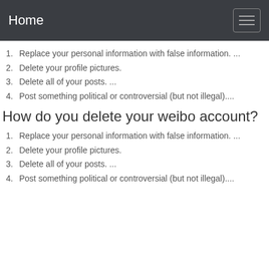Home
1. Replace your personal information with false information. ...
2. Delete your profile pictures.
3. Delete all of your posts. ...
4. Post something political or controversial (but not illegal)....
How do you delete your weibo account?
1. Replace your personal information with false information. ...
2. Delete your profile pictures.
3. Delete all of your posts. ...
4. Post something political or controversial (but not illegal)....